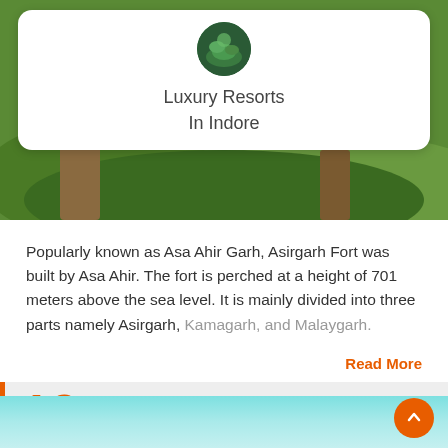[Figure (photo): Green landscape/garden background with a white rounded card overlay showing a circular logo and the text 'Luxury Resorts In Indore']
Luxury Resorts
In Indore
Popularly known as Asa Ahir Garh, Asirgarh Fort was built by Asa Ahir. The fort is perched at a height of 701 meters above the sea level. It is mainly divided into three parts namely Asirgarh, Kamagarh, and Malaygarh.
Read More
19 Lotus Lake, Gulawat
[Figure (photo): Teal/cyan gradient background representing a lake or water body]